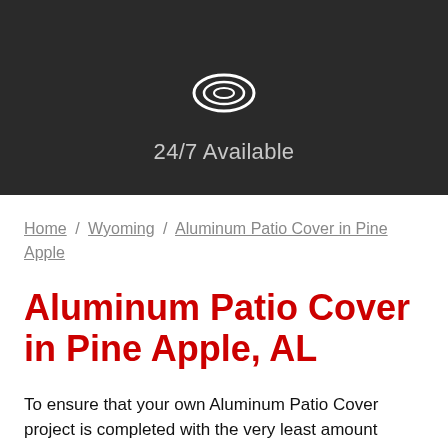[Figure (logo): White logo icon on dark background (circular/wave design)]
24/7 Available
Home / Wyoming / Aluminum Patio Cover in Pine Apple
Aluminum Patio Cover in Pine Apple, AL
To ensure that your own Aluminum Patio Cover project is completed with the very least amount